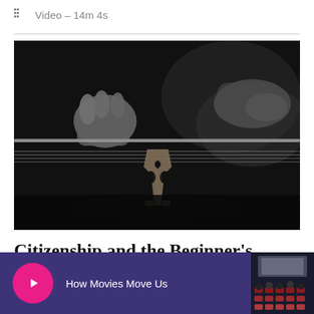Video – 14m 4s
[Figure (photo): Black and white close-up photograph of hands playing a violin, showing the bow on the strings and the violin bridge detail]
Citizenship and the Beginner’s Mind:
[Figure (screenshot): Bottom media player bar with pink play button, text 'How Movies Move Us', and a thumbnail of a cinema audience]